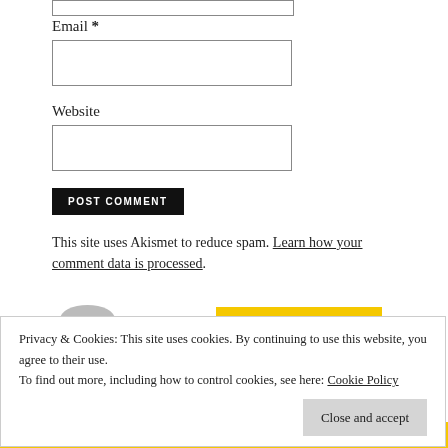Email *
Website
POST COMMENT
This site uses Akismet to reduce spam. Learn how your comment data is processed.
Privacy & Cookies: This site uses cookies. By continuing to use this website, you agree to their use.
To find out more, including how to control cookies, see here: Cookie Policy
Close and accept